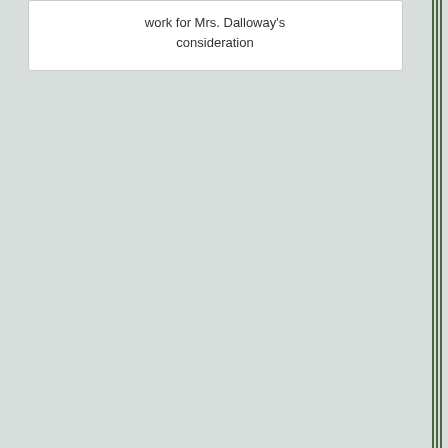work for Mrs. Dalloway's consideration
Dolly!: The Story of Dolly P...
By Robyn McGr...
Add to Cart
Most titles are on our...
[Figure (photo): Book cover thumbnail for Hope Wins: A Collection of Inspiring Stories]
Hope Wins: A Collection of Inspi...
By Rose Brock (Editor), Tom Ang... Buxbaum, Pablo Cartaya, J. C. Cerv... Adam Gidwitz, R.L. Stine, Veera...